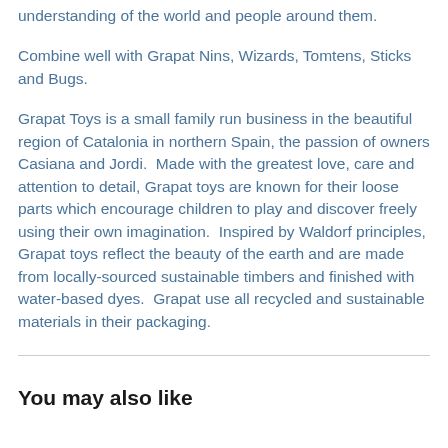understanding of the world and people around them.
Combine well with Grapat Nins, Wizards, Tomtens, Sticks and Bugs.
Grapat Toys is a small family run business in the beautiful region of Catalonia in northern Spain, the passion of owners Casiana and Jordi.  Made with the greatest love, care and attention to detail, Grapat toys are known for their loose parts which encourage children to play and discover freely using their own imagination.  Inspired by Waldorf principles, Grapat toys reflect the beauty of the earth and are made from locally-sourced sustainable timbers and finished with water-based dyes.  Grapat use all recycled and sustainable materials in their packaging.
You may also like